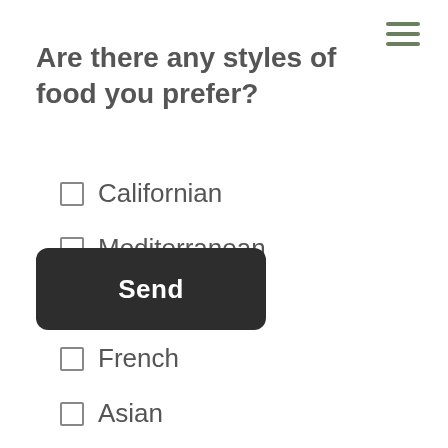Are there any styles of food you prefer?
Californian
Mediterranean
Italian
French
Asian
Send